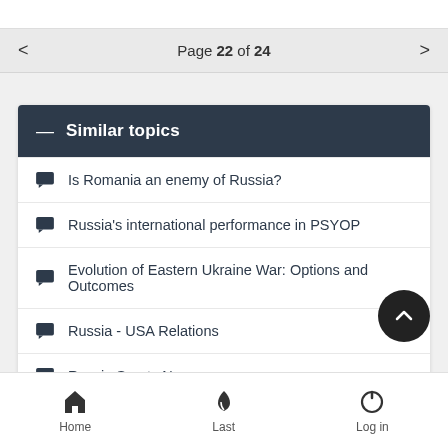Page 22 of 24
Similar topics
Is Romania an enemy of Russia?
Russia's international performance in PSYOP
Evolution of Eastern Ukraine War: Options and Outcomes
Russia - USA Relations
Russia Sports News:
Home  Last  Log in